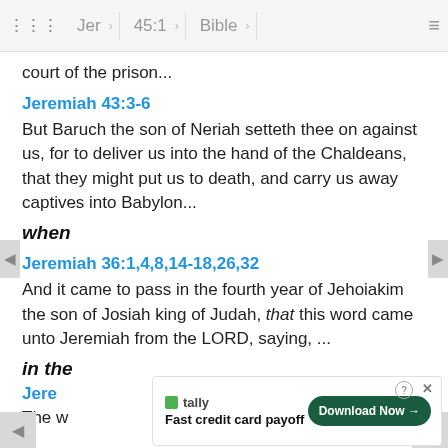Jer  45:1  Bible
court of the prison...
Jeremiah 43:3-6
But Baruch the son of Neriah setteth thee on against us, for to deliver us into the hand of the Chaldeans, that they might put us to death, and carry us away captives into Babylon...
when
Jeremiah 36:1,4,8,14-18,26,32
And it came to pass in the fourth year of Jehoiakim the son of Josiah king of Judah, that this word came unto Jeremiah from the LORD, saying, ...
in the
Jere...
The w... the